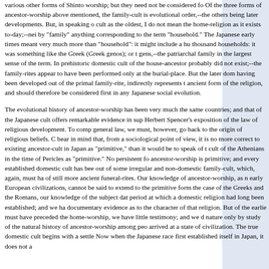various other forms of Shinto worship; but they need not be considered fo Of the three forms of ancestor-worship above mentioned, the family-cult is evolutional order,--the others being later developments. But, in speaking o cult as the oldest, I do not mean the home-religion as it exists to-day;--nei by "family" anything corresponding to the term "household." The Japanese early times meant very much more than "household": it might include a hu thousand households: it was something like the Greek (Greek genos); or t gens,--the patriarchal family in the largest sense of the term. In prehistoric domestic cult of the house-ancestor probably did not exist;--the family-rites appear to have been performed only at the burial-place. But the later dom having been developed out of the primal family-rite, indirectly represents t ancient form of the religion, and should therefore be considered first in any Japanese social evolution.
The evolutional history of ancestor-worship has been very much the same countries; and that of the Japanese cult offers remarkable evidence in sup Herbert Spencer's exposition of the law of religious development. To comp general law, we must, however, go back to the origin of religious beliefs. C bear in mind that, from a sociological point of view, it is no more correct to existing ancestor-cult in Japan as "primitive," than it would be to speak of t cult of the Athenians in the time of Pericles as "primitive." No persistent fo ancestor-worship is primitive; and every established domestic cult has bee out of some irregular and non-domestic family-cult, which, again, must ha of still more ancient funeral-rites. Our knowledge of ancestor-worship, as n early European civilizations, cannot be said to extend to the primitive form the case of the Greeks and the Romans, our knowledge of the subject dat period at which a domestic religion had long been established; and we ha documentary evidence as to the character of that religion. But of the earlie must have preceded the home-worship, we have little testimony; and we d nature only by study of the natural history of ancestor-worship among peo arrived at a state of civilization. The true domestic cult begins with a settle Now when the Japanese race first established itself in Japan, it does not a